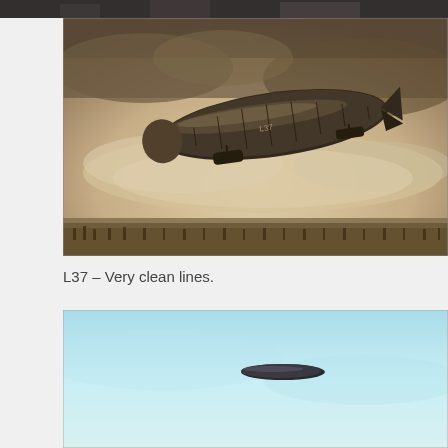[Figure (photo): Partial view of a black and white photograph at the top of the page, cropped.]
[Figure (photo): Sepia-toned historical photograph of a zeppelin airship (labeled L37) in flight over a crowd, with dramatic cloudy sky background.]
L37 – Very clean lines.
[Figure (photo): Color photograph with light blue sky background showing a distant dark airship silhouette flying high.]